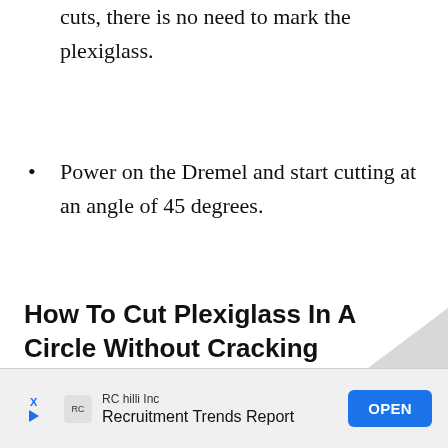cuts, there is no need to mark the plexiglass.
Power on the Dremel and start cutting at an angle of 45 degrees.
How To Cut Plexiglass In A Circle Without Cracking
Th